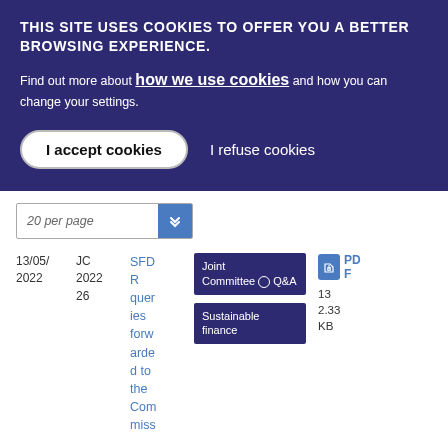THIS SITE USES COOKIES TO OFFER YOU A BETTER BROWSING EXPERIENCE.
Find out more about how we use cookies and how you can change your settings.
I accept cookies | I refuse cookies
20 per page
| Date | Reference | Title | Tags | File |
| --- | --- | --- | --- | --- |
| 13/05/2022 | JC 2022 26 | SFDR queries forwarded to the Commission | Joint Committee Q&A | Sustainable finance | PDF 13 2.33 KB |